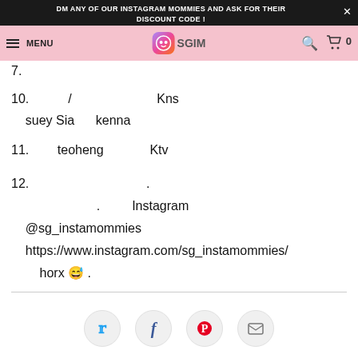DM ANY OF OUR INSTAGRAM MOMMIES AND ASK FOR THEIR DISCOUNT CODE!
MENU | SGIM | 0
7.
10.  /  Kns suey Sia  kenna
11.  teoheng  Ktv
12.  .  . Instagram @sg_instamommies https://www.instagram.com/sg_instamommies/ horx 😅 .